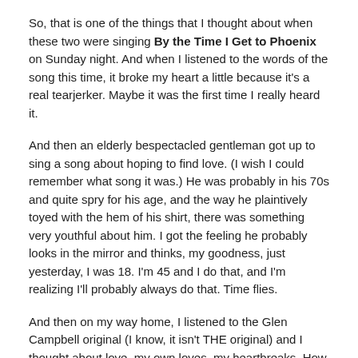So, that is one of the things that I thought about when these two were singing By the Time I Get to Phoenix on Sunday night. And when I listened to the words of the song this time, it broke my heart a little because it's a real tearjerker. Maybe it was the first time I really heard it.
And then an elderly bespectacled gentleman got up to sing a song about hoping to find love. (I wish I could remember what song it was.) He was probably in his 70s and quite spry for his age, and the way he plaintively toyed with the hem of his shirt, there was something very youthful about him. I got the feeling he probably looks in the mirror and thinks, my goodness, just yesterday, I was 18. I'm 45 and I do that, and I'm realizing I'll probably always do that. Time flies.
And then on my way home, I listened to the Glen Campbell original (I know, it isn't THE original) and I thought about love, my own loves, my heartbreaks. How it's sometimes tricky to navigate relationships. And yet, there's a line in the song where Glen says that he's tried to break up with his girl "so many times before" and I'm left with a little hope for them that